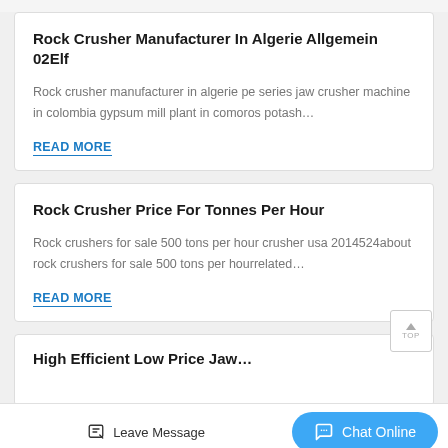Rock Crusher Manufacturer In Algerie Allgemein 02Elf
Rock crusher manufacturer in algerie pe series jaw crusher machine in colombia gypsum mill plant in comoros potash…
READ MORE
Rock Crusher Price For Tonnes Per Hour
Rock crushers for sale 500 tons per hour crusher usa 2014524about rock crushers for sale 500 tons per hourrelated…
READ MORE
High Efficient Low Price Jaw…